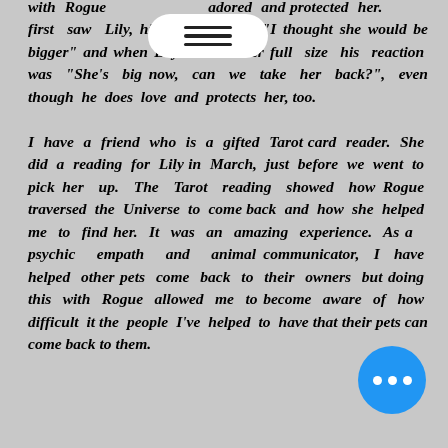with Rogue adored and protected her. first saw Lily, his comment was "I thought she would be bigger" and when Lily reached her full size his reaction was "She's big now, can we take her back?", even though he does love and protects her, too.

I have a friend who is a gifted Tarot card reader. She did a reading for Lily in March, just before we went to pick her up. The Tarot reading showed how Rogue traversed the Universe to come back and how she helped me to find her. It was an amazing experience. As a psychic empath and animal communicator, I have helped other pets come back to their owners but doing this with Rogue allowed me to become aware of how difficult it the people I've helped to have that their pets can come back to them.